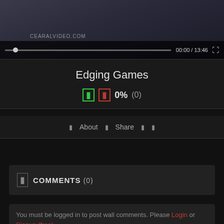[Figure (screenshot): Video player showing partially visible video with progress bar at start, timestamp 00:00/13:46, fullscreen icon, and watermark text CEARALVIDEO.COM]
Edging Games
0% (0)
About   Share
COMMENTS (0)
You must be logged in to post wall comments. Please Login or Signup (free).